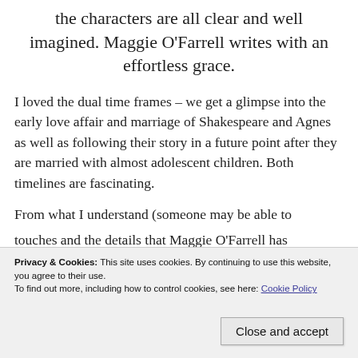the characters are all clear and well imagined. Maggie O'Farrell writes with an effortless grace.
I loved the dual time frames – we get a glimpse into the early love affair and marriage of Shakespeare and Agnes as well as following their story in a future point after they are married with almost adolescent children. Both timelines are fascinating.
From what I understand (someone may be able to
Privacy & Cookies: This site uses cookies. By continuing to use this website, you agree to their use.
To find out more, including how to control cookies, see here: Cookie Policy
Close and accept
touches and the details that Maggie O'Farrell has